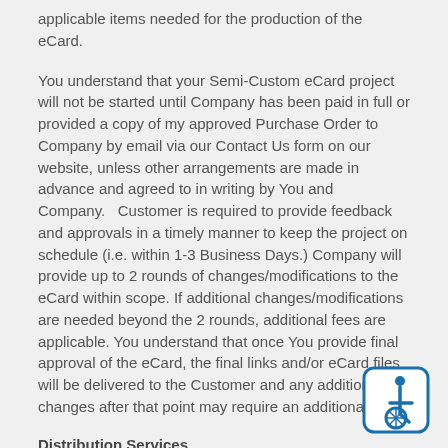applicable items needed for the production of the eCard.
You understand that your Semi-Custom eCard project will not be started until Company has been paid in full or provided a copy of my approved Purchase Order to Company by email via our Contact Us form on our website, unless other arrangements are made in advance and agreed to in writing by You and Company.   Customer is required to provide feedback and approvals in a timely manner to keep the project on schedule (i.e. within 1-3 Business Days.) Company will provide up to 2 rounds of changes/modifications to the eCard within scope. If additional changes/modifications are needed beyond the 2 rounds, additional fees are applicable. You understand that once You provide final approval of the eCard, the final links and/or eCard files will be delivered to the Customer and any additional changes after that point may require an additional fee.
Distribution Services
Company will use its best efforts to ensure all e-Cards are delivered by the requested target date
[Figure (illustration): Accessibility icon: blue wheelchair symbol in a rounded square border]